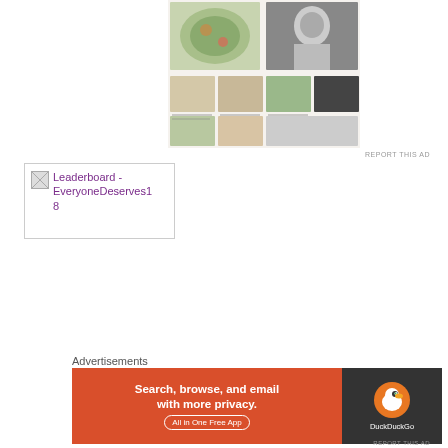[Figure (photo): Partial view of a food/recipe magazine or book spread showing dishes and food photography, visible in upper right area of page]
REPORT THIS AD
[Figure (other): Leaderboard advertisement placeholder reading 'Leaderboard - EveryoneDeserves18' with broken image icon, shown in a bordered box]
Advertisements
[Figure (other): DuckDuckGo advertisement banner: orange background on left with text 'Search, browse, and email with more privacy. All in One Free App' and dark right panel with DuckDuckGo logo and name]
REPORT THIS AD